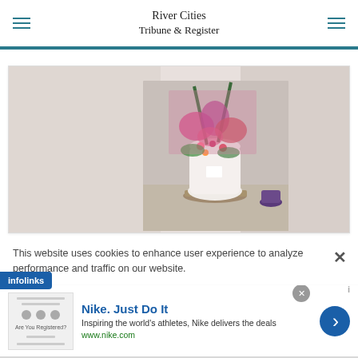River Cities Tribune & Register
[Figure (photo): Floral arrangement in a white vase with tall green leaves/spikes and colorful flowers (pink, purple, red) displayed on a wooden base, with a purple candle holder beside it. Background is blurred/foggy.]
This website uses cookies to enhance user experience to analyze performance and traffic on our website.
infolinks
Nike. Just Do It
Inspiring the world's athletes, Nike delivers the deals
www.nike.com